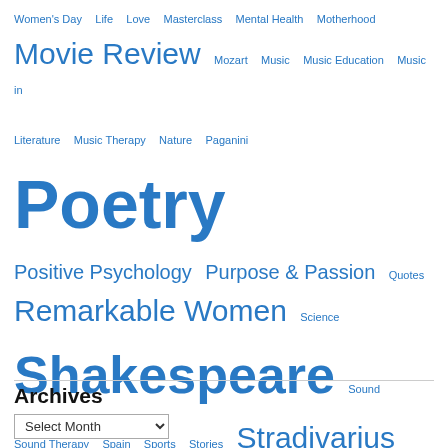Women's Day  Life  Love  Masterclass  Mental Health  Motherhood  Movie Review  Mozart  Music  Music Education  Music in Literature  Music Therapy  Nature  Paganini  Poetry  Positive Psychology  Purpose & Passion  Quotes  Remarkable Women  Science  Shakespeare  Sound  Sound Therapy  Spain  Sports  Stories  Stradivarius  Sunday Blog Share  Tartini  The Human Condition  The Virtuoso  Time  Travel Related  Violin  Vivaldi  Writing  Yehudi Menuhin
Archives